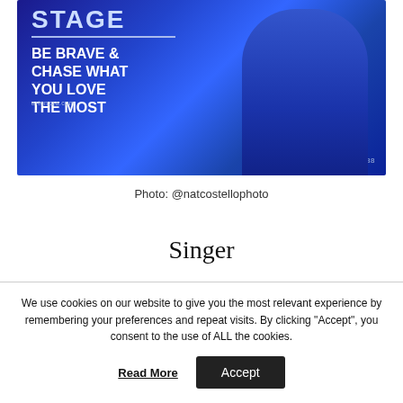[Figure (photo): Magazine cover-style image with dark blue background showing a person in a blue suit. White text reads 'STAGE' at top with a line, then 'BE BRAVE & CHASE WHAT YOU LOVE THE MOST'. Bottom left shows artenzza.com, bottom right shows #188.]
Photo: @natcostellophoto
Singer
We use cookies on our website to give you the most relevant experience by remembering your preferences and repeat visits. By clicking "Accept", you consent to the use of ALL the cookies.
Read More  Accept